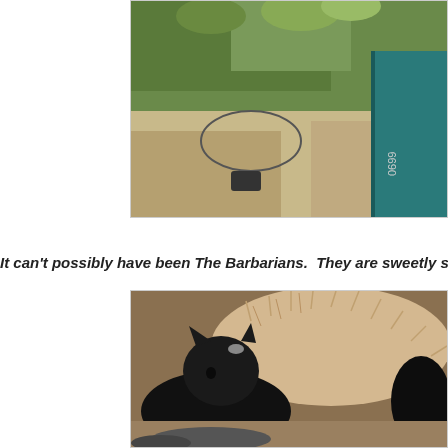[Figure (photo): Partial photo at top of page showing green plants/succulents and a teal/turquoise container with some text on it, sandy ground visible.]
It can't possibly have been The Barbarians.  They are sweetly sleep
[Figure (photo): Photo of black cats resting on a fluffy beige/cream furry cushion or blanket, appearing to be sleeping.]